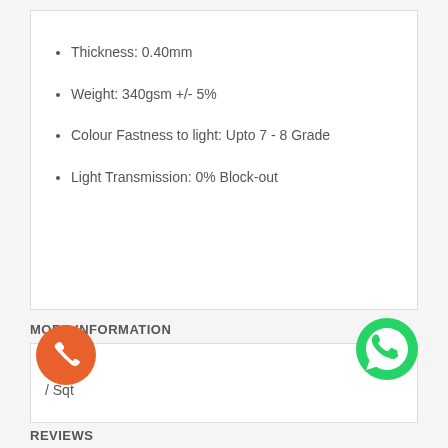Thickness: 0.40mm
Weight: 340gsm +/- 5%
Colour Fastness to light: Upto 7 - 8 Grade
Light Transmission: 0% Block-out
MORE INFORMATION
/ Sqt
REVIEWS